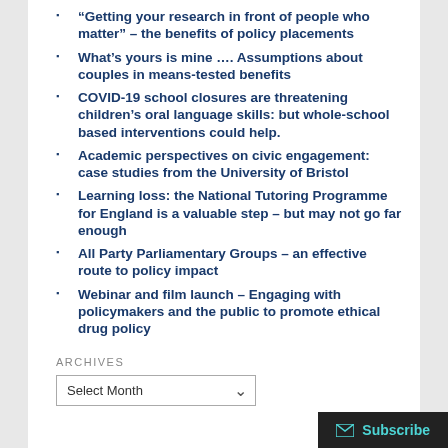“Getting your research in front of people who matter” – the benefits of policy placements
What’s yours is mine …. Assumptions about couples in means-tested benefits
COVID-19 school closures are threatening children’s oral language skills: but whole-school based interventions could help.
Academic perspectives on civic engagement: case studies from the University of Bristol
Learning loss: the National Tutoring Programme for England is a valuable step – but may not go far enough
All Party Parliamentary Groups – an effective route to policy impact
Webinar and film launch – Engaging with policymakers and the public to promote ethical drug policy
ARCHIVES
Select Month